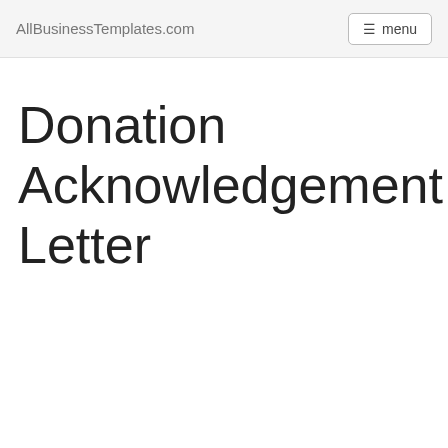AllBusinessTemplates.com   ☰ menu
Donation Acknowledgement Letter